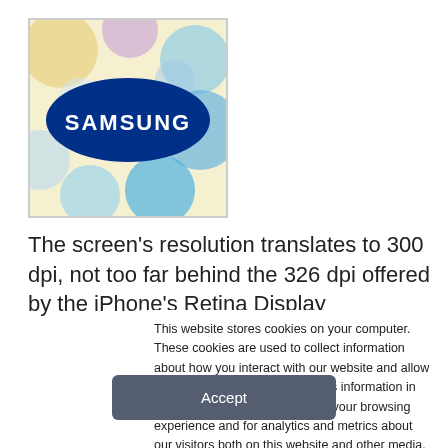[Figure (logo): Samsung logo on colorful bokeh background]
The screen's resolution translates to 300 dpi, not too far behind the 326 dpi offered by the iPhone's Retina Display
This website stores cookies on your computer. These cookies are used to collect information about how you interact with our website and allow us to remember you. We use this information in order to improve and customize your browsing experience and for analytics and metrics about our visitors both on this website and other media. To find out more about the cookies we use, see our Privacy Policy. California residents have the right to direct us not to sell their personal information to third parties by filing an Opt-Out Request: Do Not Sell My Personal Info.
Accept